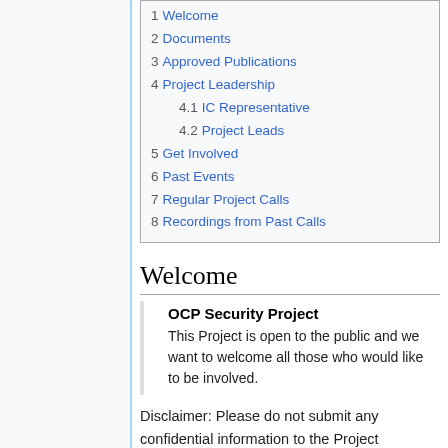1 Welcome
2 Documents
3 Approved Publications
4 Project Leadership
4.1 IC Representative
4.2 Project Leads
5 Get Involved
6 Past Events
7 Regular Project Calls
8 Recordings from Past Calls
Welcome
OCP Security Project
This Project is open to the public and we want to welcome all those who would like to be involved.
Disclaimer: Please do not submit any confidential information to the Project Community. All presentation materials,